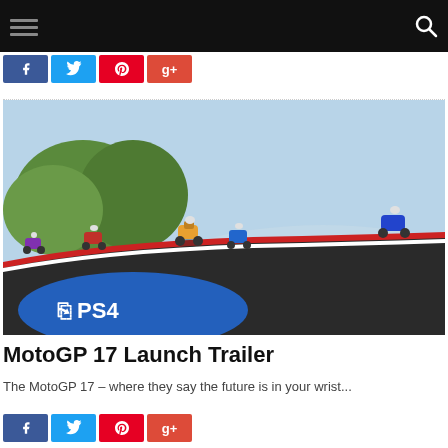[Figure (screenshot): MotoGP 17 video game screenshot showing motorcycle racers on a track with PS4 logo in the bottom left corner]
MotoGP 17 Launch Trailer
The MotoGP 17 – where they say the future is in your wrist...